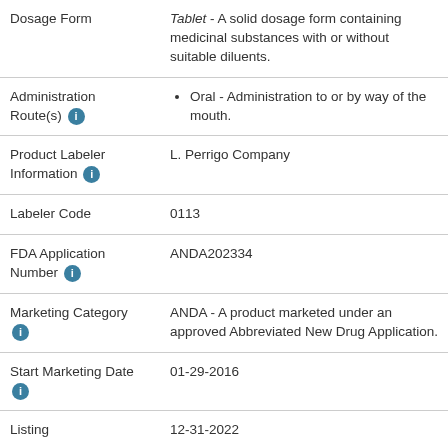| Field | Value |
| --- | --- |
| Dosage Form | Tablet - A solid dosage form containing medicinal substances with or without suitable diluents. |
| Administration Route(s) | Oral - Administration to or by way of the mouth. |
| Product Labeler Information | L. Perrigo Company |
| Labeler Code | 0113 |
| FDA Application Number | ANDA202334 |
| Marketing Category | ANDA - A product marketed under an approved Abbreviated New Drug Application. |
| Start Marketing Date | 01-29-2016 |
| Listing | 12-31-2022 |